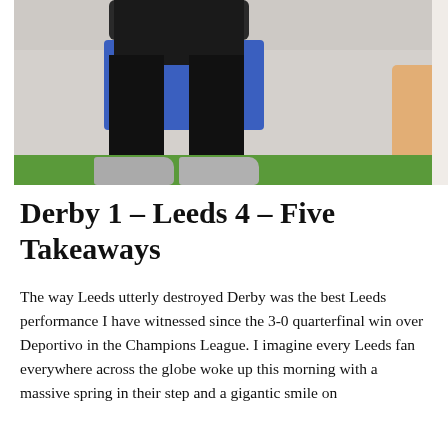[Figure (photo): Photo of a person (likely a football manager) sitting on a blue box/seat at pitch-side, wearing dark clothing, with legs crossed and shoes visible. Green grass visible at bottom, crowd/stands in background. Another person partially visible on the right side.]
Derby 1 – Leeds 4 – Five Takeaways
The way Leeds utterly destroyed Derby was the best Leeds performance I have witnessed since the 3-0 quarterfinal win over Deportivo in the Champions League. I imagine every Leeds fan everywhere across the globe woke up this morning with a massive spring in their step and a gigantic smile on